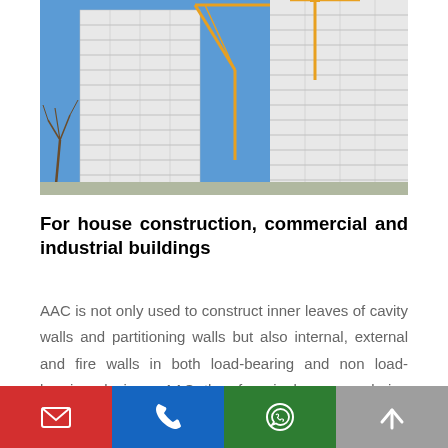[Figure (photo): Photograph of two tall white residential/commercial high-rise buildings under construction against a blue sky, with yellow construction cranes visible between them and a bare tree in the lower left.]
For house construction, commercial and industrial buildings
AAC is not only used to construct inner leaves of cavity walls and partitioning walls but also internal, external and fire walls in both load-bearing and non load-bearing designs. AAC therefore is known as being efficient for both house construction and for